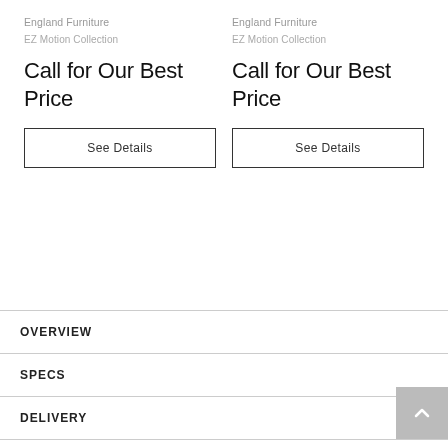England Furniture
EZ Motion Collection
Call for Our Best Price
See Details
England Furniture
EZ Motion Collection
Call for Our Best Price
See Details
OVERVIEW
SPECS
DELIVERY